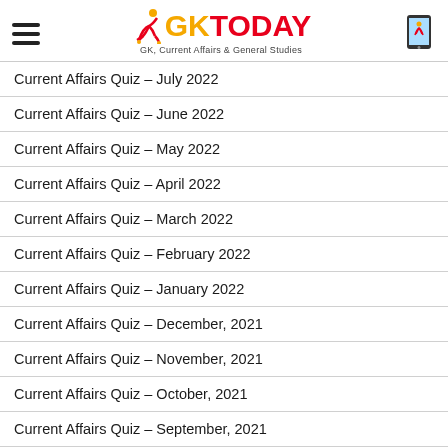GKToday – GK, Current Affairs & General Studies
Current Affairs Quiz – July 2022
Current Affairs Quiz – June 2022
Current Affairs Quiz – May 2022
Current Affairs Quiz – April 2022
Current Affairs Quiz – March 2022
Current Affairs Quiz – February 2022
Current Affairs Quiz – January 2022
Current Affairs Quiz – December, 2021
Current Affairs Quiz – November, 2021
Current Affairs Quiz – October, 2021
Current Affairs Quiz – September, 2021
Previous Months